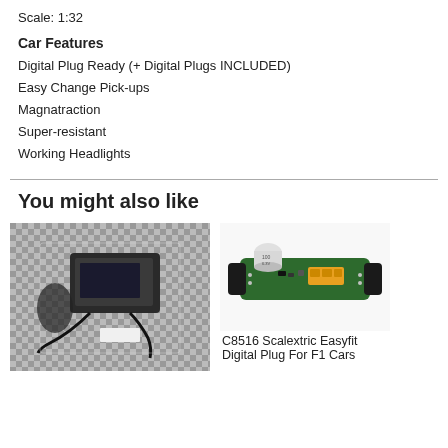Scale: 1:32
Car Features
Digital Plug Ready (+ Digital Plugs INCLUDED)
Easy Change Pick-ups
Magnatraction
Super-resistant
Working Headlights
You might also like
[Figure (photo): Photo of a Scalextric digital controller/power supply unit in packaging on a checkered background]
[Figure (photo): Photo of a C8516 Scalextric Easyfit Digital Plug for F1 Cars - a small green circuit board with components]
C8516 Scalextric Easyfit Digital Plug For F1 Cars